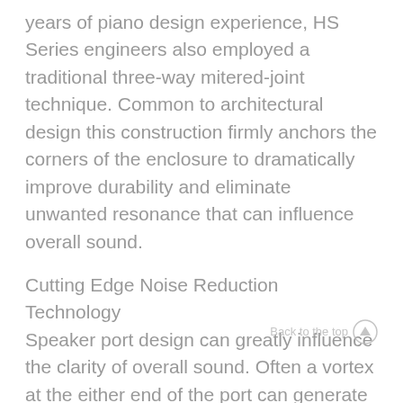years of piano design experience, HS Series engineers also employed a traditional three-way mitered-joint technique. Common to architectural design this construction firmly anchors the corners of the enclosure to dramatically improve durability and eliminate unwanted resonance that can influence overall sound.
Cutting Edge Noise Reduction Technology
Speaker port design can greatly influence the clarity of overall sound. Often a vortex at the either end of the port can generate air vibrations inside of the port, causing unwanted noise. By adopting an advanced noise reduction technology that incorporates a thorough analysis of a visual representation of the sound, Yamaha's engineers are able to control and reduce the vortex. Through this in-depth analysis we have arrived at the